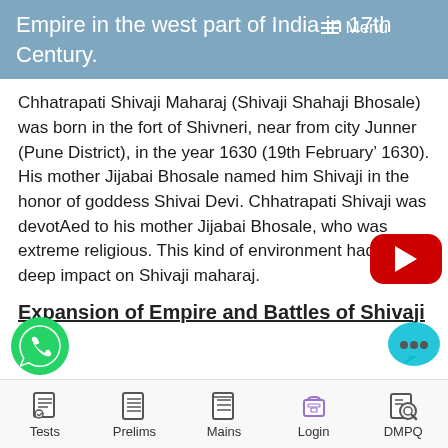Empire in the west part of India in 17th Century.
Chhatrapati Shivaji Maharaj (Shivaji Shahaji Bhosale) was born in the fort of Shivneri, near from city Junner (Pune District), in the year 1630 (19th February’ 1630). His mother Jijabai Bhosale named him Shivaji in the honor of goddess Shivai Devi. Chhatrapati Shivaji was devotAed to his mother Jijabai Bhosale, who was extreme religious. This kind of environment had put deep impact on Shivaji maharaj.
Expansion of Empire and Battles of Shivaji
Tests  Prelims  Mains  Login  DMPQ